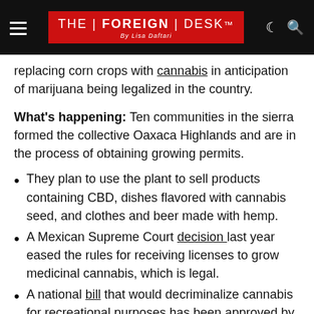THE | FOREIGN | DESK — By Lisa Daftari
replacing corn crops with cannabis in anticipation of marijuana being legalized in the country.
What's happening: Ten communities in the sierra formed the collective Oaxaca Highlands and are in the process of obtaining growing permits.
They plan to use the plant to sell products containing CBD, dishes flavored with cannabis seed, and clothes and beer made with hemp.
A Mexican Supreme Court decision last year eased the rules for receiving licenses to grow medicinal cannabis, which is legal.
A national bill that would decriminalize cannabis for recreational purposes has been approved by the lower house and a Senate vote is